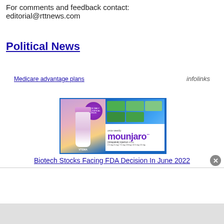For comments and feedback contact:
editorial@rttnews.com
Political News
Medicare advantage plans
infolinks
[Figure (photo): Advertisement image split in two halves: left side shows a tube of VTEMA cream with a purple circular badge; right side shows Mounjaro (tirzepatide) injection product boxes and branding on a blue gradient background.]
Biotech Stocks Facing FDA Decision In June 2022